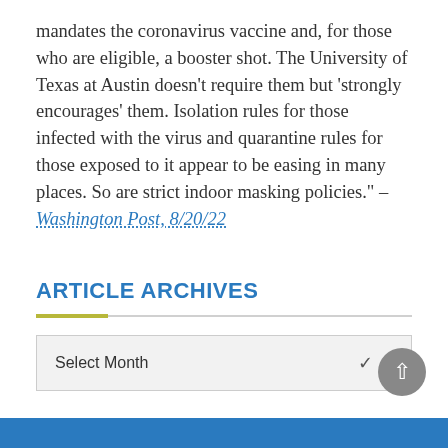mandates the coronavirus vaccine and, for those who are eligible, a booster shot. The University of Texas at Austin doesn't require them but 'strongly encourages' them. Isolation rules for those infected with the virus and quarantine rules for those exposed to it appear to be easing in many places. So are strict indoor masking policies." – Washington Post, 8/20/22
ARTICLE ARCHIVES
[Figure (other): A dropdown select box labeled 'Select Month' with a chevron arrow on the right]